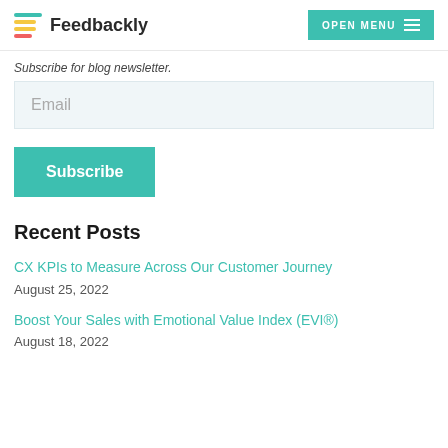Feedbackly | OPEN MENU
Subscribe for blog newsletter.
Email
Subscribe
Recent Posts
CX KPIs to Measure Across Our Customer Journey
August 25, 2022
Boost Your Sales with Emotional Value Index (EVI®)
August 18, 2022